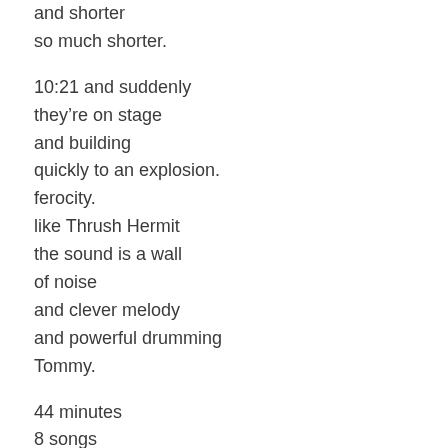and shorter
so much shorter.

10:21 and suddenly
they’re on stage
and building
quickly to an explosion.
ferocity.
like Thrush Hermit
the sound is a wall
of noise
and clever melody
and powerful drumming
Tommy.

44 minutes
8 songs
i wanted more.
there’s a curfew